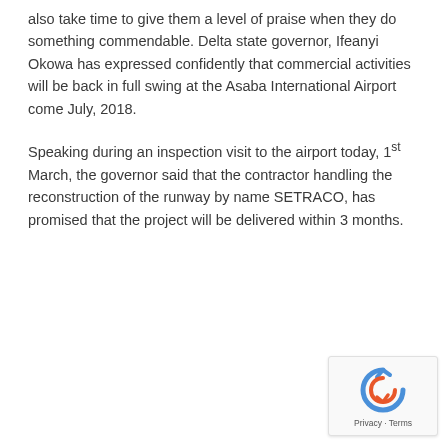also take time to give them a level of praise when they do something commendable. Delta state governor, Ifeanyi Okowa has expressed confidently that commercial activities will be back in full swing at the Asaba International Airport come July, 2018.
Speaking during an inspection visit to the airport today, 1st March, the governor said that the contractor handling the reconstruction of the runway by name SETRACO, has promised that the project will be delivered within 3 months.
[Figure (logo): reCAPTCHA privacy widget with circular arrow logo and Privacy · Terms text]